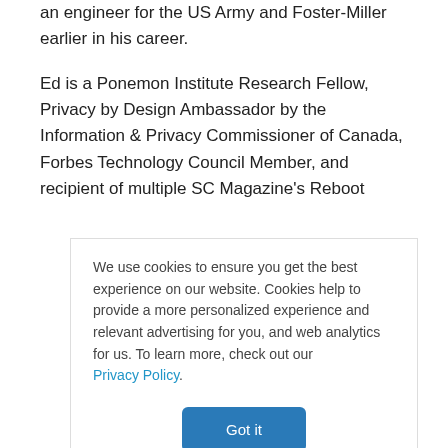an engineer for the US Army and Foster-Miller earlier in his career.
Ed is a Ponemon Institute Research Fellow, Privacy by Design Ambassador by the Information & Privacy Commissioner of Canada, Forbes Technology Council Member, and recipient of multiple SC Magazine's Reboot
We use cookies to ensure you get the best experience on our website. Cookies help to provide a more personalized experience and relevant advertising for you, and web analytics for us. To learn more, check out our Privacy Policy.
Got it